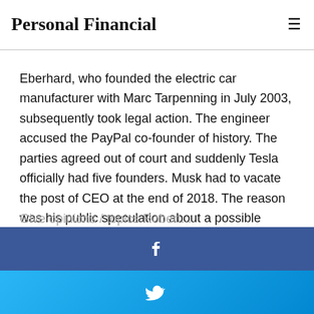Personal Financial
Can someone be the founder of a company if they joined it as a company from 2 years later? Sure, said Elon Musk. Martin Eberhard, who founded the electric car manufacturer with Marc Tarpenning in July 2003, subsequently took legal action. The engineer accused the PayPal co-founder of history. The parties agreed out of court and suddenly Tesla officially had five founders. Musk had to vacate the post of CEO at the end of 2018. The reason was his public speculation about a possible privatization of the car maker. The sole founder of SpaceX is still CEO of Tesla. The group ranks 124th in the current Fortune 500, 20 ranks better than last year. Revenue increased 14.5 percent to $ 24.6 billion. This was offset by losses of $ 862 million.
Give opinions / topics Robert...